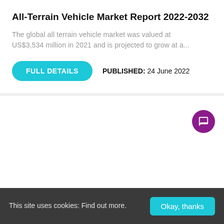All-Terrain Vehicle Market Report 2022-2032
The global all terrain vehicle market was valued at US$3,534 million in 2021 and is projected to grow at a...
FULL DETAILS   PUBLISHED: 24 June 2022
[Figure (other): White card area with purple chat bubble icon in top right corner]
3D Printing: Automotive Additive
This site uses cookies: Find out more.
Okay, thanks